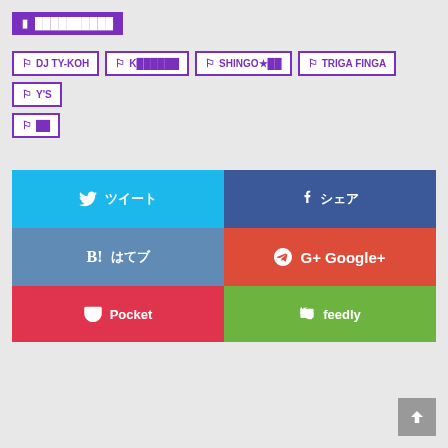📁 ██████████
🏷 DJ TY-KOH
🏷 K██████
🏷 SHINGO★██
🏷 TRIGA FINGA
🏷 Y'S
🏷 ██
[Figure (screenshot): Social sharing buttons grid: Twitter (blue), Facebook (dark blue), Hatebu B! (steel blue), Google+ (red), Pocket (red), feedly (green)]